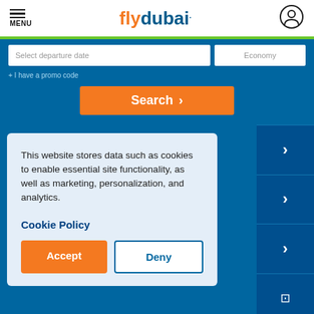[Figure (logo): flydubai airline logo with orange 'fly' and blue 'dubai' text with a stylized dot]
Select departure date
Economy
+ I have a promo code
Search >
This website stores data such as cookies to enable essential site functionality, as well as marketing, personalization, and analytics.
Cookie Policy
Accept
Deny